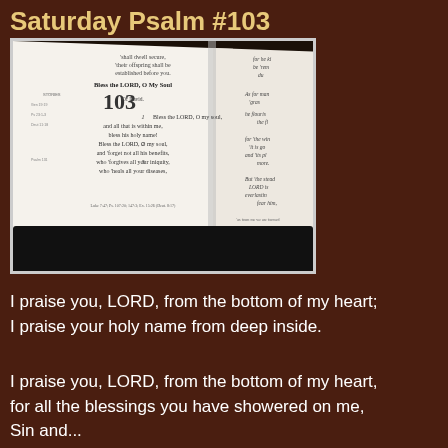Saturday Psalm #103
[Figure (photo): An open Bible showing Psalm 103 with commentary notes in the margins, photographed at an angle on a dark background.]
I praise you, LORD, from the bottom of my heart;
I praise your holy name from deep inside.
I praise you, LORD, from the bottom of my heart,
for all the blessings you have showered on me,
Sin and...